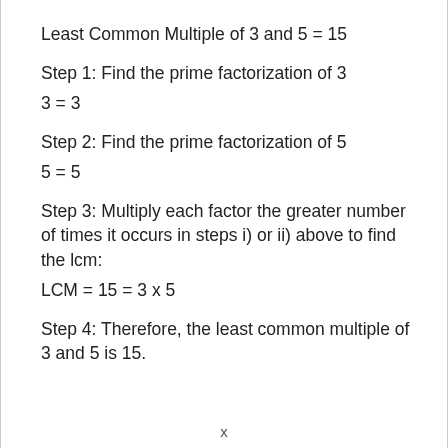Least Common Multiple of 3 and 5 = 15
Step 1: Find the prime factorization of 3
Step 2: Find the prime factorization of 5
Step 3: Multiply each factor the greater number of times it occurs in steps i) or ii) above to find the lcm:
Step 4: Therefore, the least common multiple of 3 and 5 is 15.
x